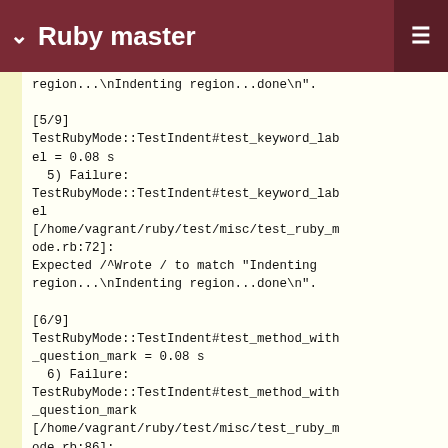Ruby master
region...\nIndenting region...done\n".

[5/9]
TestRubyMode::TestIndent#test_keyword_label = 0.08 s
  5) Failure:
TestRubyMode::TestIndent#test_keyword_label
[/home/vagrant/ruby/test/misc/test_ruby_mode.rb:72]:
Expected /^Wrote / to match "Indenting region...\nIndenting region...done\n".

[6/9]
TestRubyMode::TestIndent#test_method_with_question_mark = 0.08 s
  6) Failure:
TestRubyMode::TestIndent#test_method_with_question_mark
[/home/vagrant/ruby/test/misc/test_ruby_mode.rb:86]:
Expected /^Wrote / to match "Indenting region...\nIndenting region...done\n".